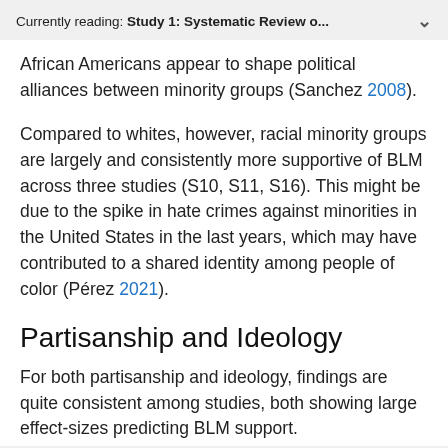Currently reading: Study 1: Systematic Review o...
African Americans appear to shape political alliances between minority groups (Sanchez 2008).
Compared to whites, however, racial minority groups are largely and consistently more supportive of BLM across three studies (S10, S11, S16). This might be due to the spike in hate crimes against minorities in the United States in the last years, which may have contributed to a shared identity among people of color (Pérez 2021).
Partisanship and Ideology
For both partisanship and ideology, findings are quite consistent among studies, both showing large effect-sizes predicting BLM support.